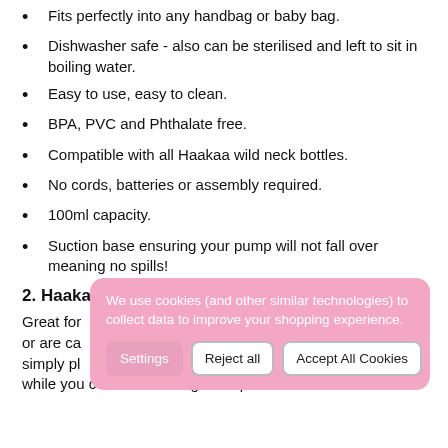Fits perfectly into any handbag or baby bag.
Dishwasher safe - also can be sterilised and left to sit in boiling water.
Easy to use, easy to clean.
BPA, PVC and Phthalate free.
Compatible with all Haakaa wild neck bottles.
No cords, batteries or assembly required.
100ml capacity.
Suction base ensuring your pump will not fall over meaning no spills!
2. Haakaa New Silicone Breast Pump Cap - Grey
Great for … pump or are ca… baby - simply pl… side while you continue feeding to stop contamination.
We use cookies (and other similar technologies) to collect data to improve your shopping experience.